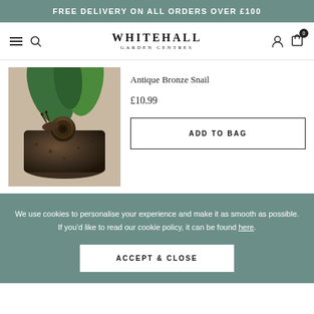FREE DELIVERY ON ALL ORDERS OVER £100
[Figure (logo): Whitehall Garden Centres logo with hamburger menu and search icon on left, user account and shopping bag icons on right]
[Figure (photo): Antique bronze snail ornament sitting on the rim of a dark bronze pot with green plants in the background]
Antique Bronze Snail
£10.99
ADD TO BAG
We use cookies to personalise your experience and make it as smooth as possible. If you'd like to read our cookie policy, it can be found here.
ACCEPT & CLOSE